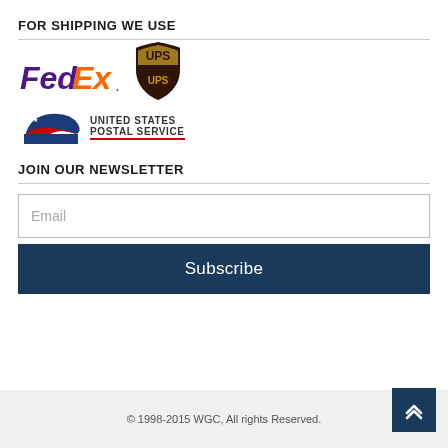FOR SHIPPING WE USE
[Figure (logo): FedEx logo, UPS shield logo, and USPS United States Postal Service logo]
JOIN OUR NEWSLETTER
Email
Subscribe
© 1998-2015 WGC, All rights Reserved.